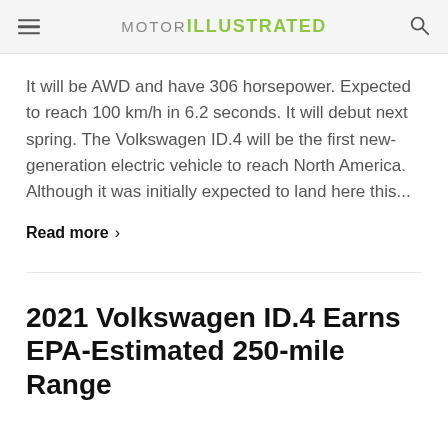MOTOR ILLUSTRATED
It will be AWD and have 306 horsepower. Expected to reach 100 km/h in 6.2 seconds. It will debut next spring. The Volkswagen ID.4 will be the first new-generation electric vehicle to reach North America. Although it was initially expected to land here this...
Read more >
2021 Volkswagen ID.4 Earns EPA-Estimated 250-mile Range